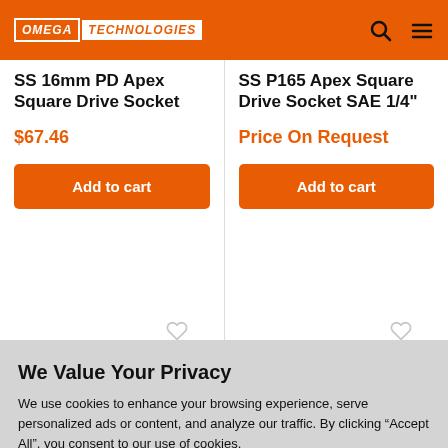OMEGA TECHNOLOGIES
SS 16mm PD Apex Square Drive Socket
$67.46
Add to cart
SS P165 Apex Square Drive Socket SAE 1/4"
Price On Request
Add to cart
We Value Your Privacy
We use cookies to enhance your browsing experience, serve personalized ads or content, and analyze our traffic. By clicking "Accept All", you consent to our use of cookies. Privacy Policy
Accept All
Reject All
Preferences